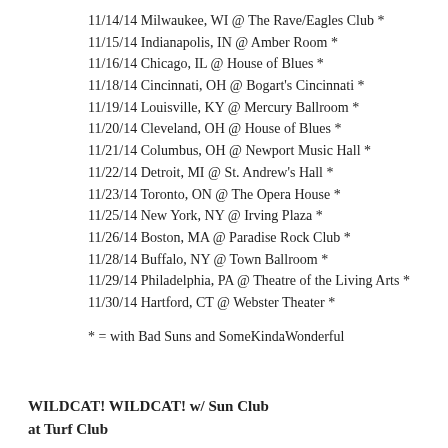11/14/14 Milwaukee, WI @ The Rave/Eagles Club *
11/15/14 Indianapolis, IN @ Amber Room *
11/16/14 Chicago, IL @ House of Blues *
11/18/14 Cincinnati, OH @ Bogart's Cincinnati *
11/19/14 Louisville, KY @ Mercury Ballroom *
11/20/14 Cleveland, OH @ House of Blues *
11/21/14 Columbus, OH @ Newport Music Hall *
11/22/14 Detroit, MI @ St. Andrew's Hall *
11/23/14 Toronto, ON @ The Opera House *
11/25/14 New York, NY @ Irving Plaza *
11/26/14 Boston, MA @ Paradise Rock Club *
11/28/14 Buffalo, NY @ Town Ballroom *
11/29/14 Philadelphia, PA @ Theatre of the Living Arts *
11/30/14 Hartford, CT @ Webster Theater *
* = with Bad Suns and SomeKindaWonderful
WILDCAT! WILDCAT! w/ Sun Club
at Turf Club